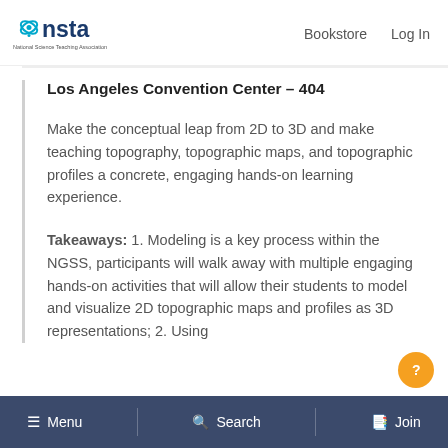NSTA – National Science Teaching Association | Bookstore | Log In
Los Angeles Convention Center – 404
Make the conceptual leap from 2D to 3D and make teaching topography, topographic maps, and topographic profiles a concrete, engaging hands-on learning experience.
Takeaways: 1. Modeling is a key process within the NGSS, participants will walk away with multiple engaging hands-on activities that will allow their students to model and visualize 2D topographic maps and profiles as 3D representations; 2. Using
≡ Menu | 🔍 Search | Join